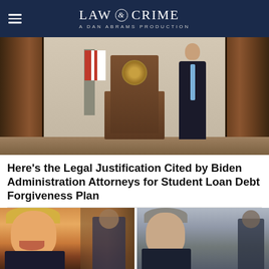LAW & CRIME — A DAN ABRAMS PRODUCTION
[Figure (photo): A person in a dark suit standing at a presidential podium with the White House seal, flanked by dark wooden doors and an American flag in an ornate room]
Here's the Legal Justification Cited by Biden Administration Attorneys for Student Loan Debt Forgiveness Plan
[Figure (photo): Two side-by-side photos: left shows Donald Trump speaking with mouth open against a flag background; right shows Robert Mueller in a dark suit with a red tie standing next to another person]